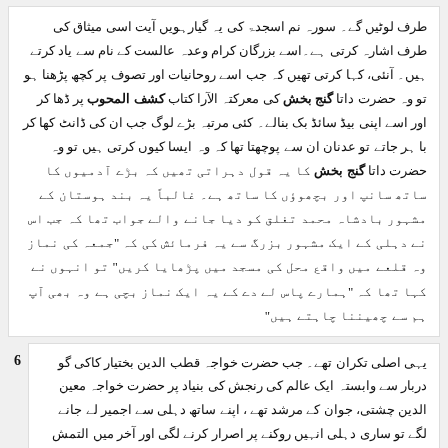طرف لوٹیں گے۔ سورہ نم اسجدۃ کی یہ گیارہویں آیت اسی میثاق کی طرف اشارہ کرتی ہے۔اسے بزرگان کرام وعدہ عالست کے نام سے یاد کرتے ہیں۔ آنئی، کہا کرتی تھیں کہ جب اسے روحانیات اور تصوف پر کچھ پڑھنا ہو تو وہ حضرت داتا گنج بخش کی معرکتہ الآرا کتاب کشف المحوب پر ڈھا کر اور اسے اپنی بیڈ سائڈ بک بنالے۔ کئی مرتبہ بڑے لوگ جب ان کی ڈانٹ کھا کر با ہر جاتے تو عدنان ان سے پوچھتا تھا کہ وہ ایسا کیوں کرتی ہیں تو وہ حضرت داتا گنج بخش کا یہ قول دہراتی تھیں کہ بڑے آدمیوں کا ساتھ سانپ اور بچھوؤں کا ساتھ ہے۔ غالباً یہ بند ہوستان کے مشہور بادشاہ محمد تغلق کو دیا جانے والے جواب تھا کہ جب اس نے دہلی کے ایک مشہور بزرگ سے یہ فرمائش کی کہ جمعہ کی نماز وہ قلعے میں واقع محل کی مسجد میں پڑھایا کریں تو انہوں نے کہا تھا کہ ہمارے پاس لے دے کے یہ ایک نماز بچی ہے وہ بھی آپ ہم سے چھیننا چاہتے ہیں
یہی اصلی تکران تھے۔ جب حضرت خواجہ قطب الدین بختیار کاکی گو دربار سے وابستہ ایک عالم کی رنجش کی بنیاد پر حضرت خواجہ معین الدین چشتی، جوان کے مرشد تھے ، اپنے ساتھ دہلی سے اجمیر لے جانے لگے تو ساری دہلی انہیں روکنے پر اصرار کرنے لگی اور آخر میں التمش نے درخواست کی کہ انہیں ساتھ نہ لے جائیں تو وہ مان گئے۔اسی طرح حضرت نظام الدین اولیاء کے دہلی تشریف لانے کے بعد گیارہ بادشاہ تخت نشین ہوئے جن میں سے کم از کم تین ایسے تھے جو آپ کے معتقد تھے مگر آپ ایک دفعہ بھی ان کے دربار کی طرف نہ گئے، نہ کوئی جاگیر قبول کی، نہ کوئی عہدہ لیا۔